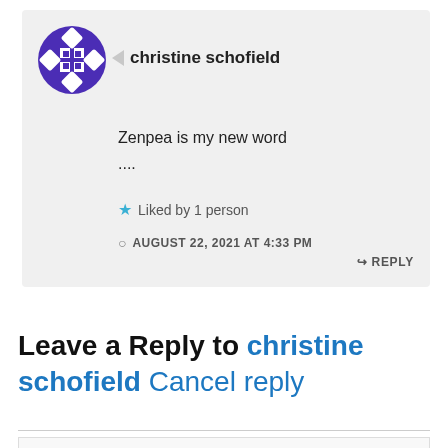[Figure (illustration): Purple decorative avatar icon with grid/snowflake pattern]
christine schofield
Zenpea is my new word
....
Liked by 1 person
AUGUST 22, 2021 AT 4:33 PM
REPLY
Leave a Reply to christine schofield Cancel reply